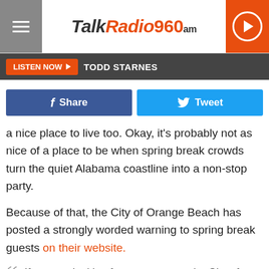[Figure (logo): TalkRadio960am logo with hamburger menu icon on left, play button icon on right]
LISTEN NOW  TODD STARNES
[Figure (infographic): Share and Tweet social buttons row]
a nice place to live too. Okay, it's probably not as nice of a place to be when spring break crowds turn the quiet Alabama coastline into a non-stop party.
Because of that, the City of Orange Beach has posted a strongly worded warning to spring break guests on their website.
If you are looking for a party town, the City of Orange Beach is not it.

Underage drinking, illegal drug use, disorderly